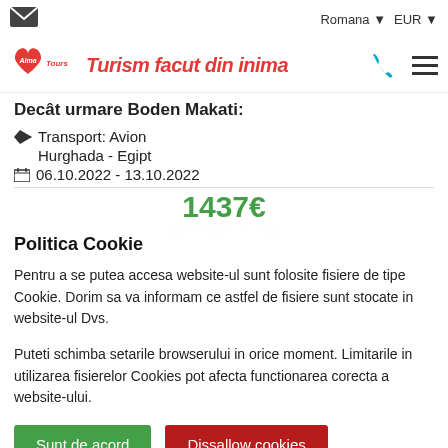✉  Romana ▼  EUR ▼
[Figure (logo): Alma Tours logo with heart shape and text 'Turism facut din inima' in red bold italic]
Decât urmare Boden Makati:
✈ Transport: Avion
Hurghada - Egipt
📅 06.10.2022 - 13.10.2022
1437€
2 persoane / 7 nopti
Politica Cookie
Pentru a se putea accesa website-ul sunt folosite fisiere de tipe Cookie. Dorim sa va informam ce astfel de fisiere sunt stocate in website-ul Dvs.
Puteti schimba setarile browserului in orice moment. Limitarile in utilizarea fisierelor Cookies pot afecta functionarea corecta a website-ului.
Sunt de acord
Dissallow cookies